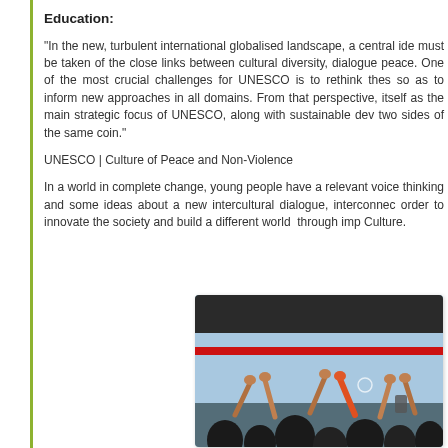Education:
"In the new, turbulent international globalised landscape, a central ide must be taken of the close links between cultural diversity, dialogue peace. One of the most crucial challenges for UNESCO is to rethink thes so as to inform new approaches in all domains. From that perspective, itself as the main strategic focus of UNESCO, along with sustainable dev two sides of the same coin."
UNESCO | Culture of Peace and Non-Violence
In a world in complete change, young people have a relevant voice thinking and some ideas about a new intercultural dialogue, interconnec order to innovate the society and build a different world  through imp Culture.
[Figure (photo): Children reaching up toward a large screen or surface, with arms raised, in an outdoor or event setting. A red stripe is visible across the image.]